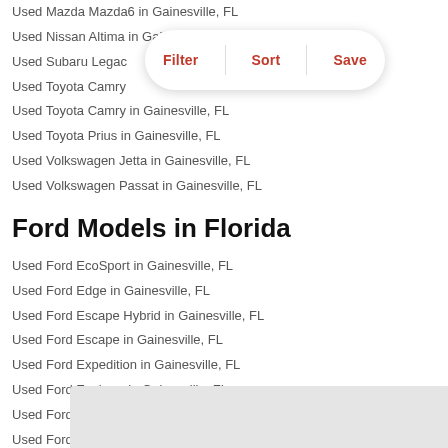Used Mazda Mazda6 in Gainesville, FL
Used Nissan Altima in Gainesville, FL
Used Subaru Legacy in Gainesville, FL
Used Toyota Camry in Gainesville, FL
Used Toyota Camry in Gainesville, FL
Used Toyota Prius in Gainesville, FL
Used Volkswagen Jetta in Gainesville, FL
Used Volkswagen Passat in Gainesville, FL
Ford Models in Florida
Used Ford EcoSport in Gainesville, FL
Used Ford Edge in Gainesville, FL
Used Ford Escape Hybrid in Gainesville, FL
Used Ford Escape in Gainesville, FL
Used Ford Expedition in Gainesville, FL
Used Ford Explorer in Gainesville, FL
Used Ford F-150 in Gainesville, FL
Used Ford F-250 Super Duty in Gainesville, FL
Used Ford F-350 Super Duty in Gainesville, FL
Used Ford Fusion in Gainesville, FL